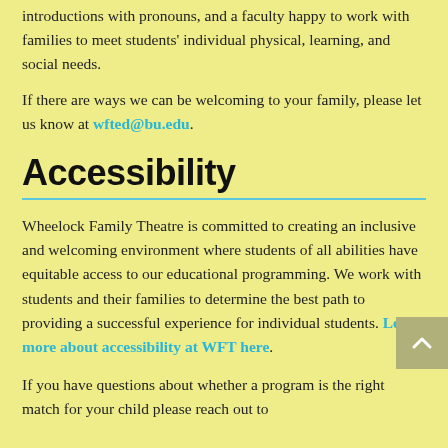introductions with pronouns, and a faculty happy to work with families to meet students' individual physical, learning, and social needs.
If there are ways we can be welcoming to your family, please let us know at wfted@bu.edu.
Accessibility
Wheelock Family Theatre is committed to creating an inclusive and welcoming environment where students of all abilities have equitable access to our educational programming. We work with students and their families to determine the best path to providing a successful experience for individual students. Learn more about accessibility at WFT here.
If you have questions about whether a program is the right match for your child please reach out to